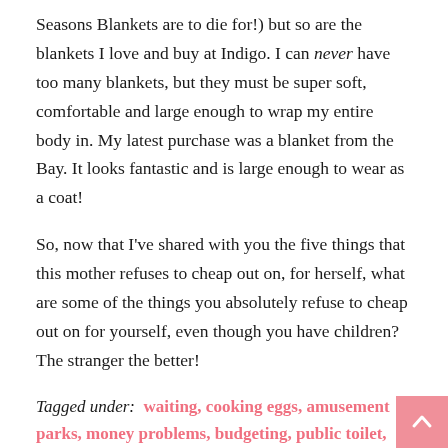Seasons Blankets are to die for!) but so are the blankets I love and buy at Indigo. I can never have too many blankets, but they must be super soft, comfortable and large enough to wrap my entire body in. My latest purchase was a blanket from the Bay. It looks fantastic and is large enough to wear as a coat!
So, now that I've shared with you the five things that this mother refuses to cheap out on, for herself, what are some of the things you absolutely refuse to cheap out on for yourself, even though you have children? The stranger the better!
Tagged under: waiting, cooking eggs, amusement parks, money problems, budgeting, public toilet, Saving money, caring for your skin, Money